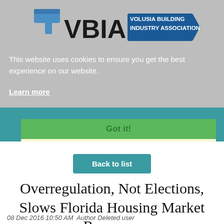[Figure (logo): VBIA - Volusia Building Industry Association logo with hammer icons]
This website uses cookies to ensure you get the best experience on our website.
Learn more
Got it!
Back to list
Overregulation, Not Elections, Slows Florida Housing Market Recovery
08 Dec 2016 10:50 AM  Author Deleted user